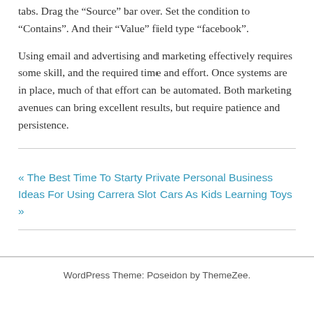tabs. Drag the “Source” bar over. Set the condition to “Contains”. And their “Value” field type “facebook”.
Using email and advertising and marketing effectively requires some skill, and the required time and effort. Once systems are in place, much of that effort can be automated. Both marketing avenues can bring excellent results, but require patience and persistence.
« The Best Time To Starty Private Personal Business Ideas For Using Carrera Slot Cars As Kids Learning Toys »
WordPress Theme: Poseidon by ThemeZee.